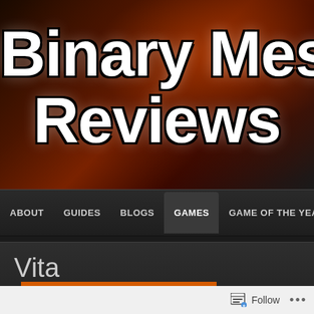[Figure (screenshot): Website header banner with dark reddish-brown background and large white bold text reading 'Binary Mess Reviews']
Binary Mess Reviews
ABOUT   GUIDES   BLOGS   GAMES   GAME OF THE YEA
Vita
Posted by BinaryMessiah on 03/07/2022
Follow ...